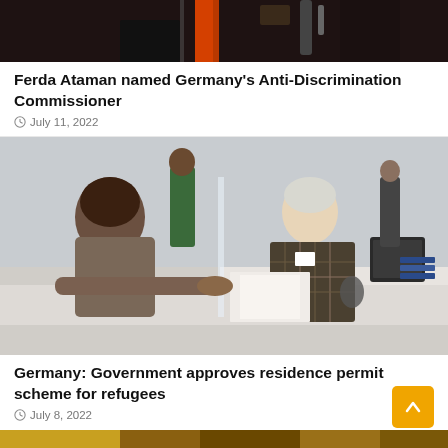[Figure (photo): Cropped top portion of a photo, showing what appears to be a speaker or presenter at an event with a red/orange backdrop]
Ferda Ataman named Germany's Anti-Discrimination Commissioner
July 11, 2022
[Figure (photo): Photo of two people at a registration desk or office counter, one person leaning over the desk toward a seated older man with white hair wearing a plaid shirt, with other people visible in background]
Germany: Government approves residence permit scheme for refugees
July 8, 2022
[Figure (photo): Partially visible bottom strip of another photo]